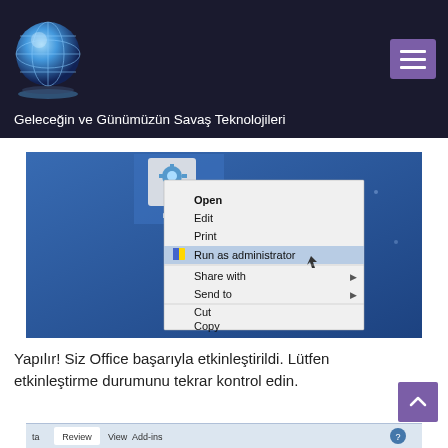[Figure (logo): Globe/network logo on dark header bar with hamburger menu button]
Geleceğin ve Günümüzün Savaş Teknolojileri
[Figure (screenshot): Windows right-click context menu showing Open, Edit, Print, Run as administrator (highlighted), Share with, Send to, Cut, Copy options over a blue desktop background with an icon labeled 'ikdas']
Yapılır! Siz Office başarıyla etkinleştirildi. Lütfen etkinleştirme durumunu tekrar kontrol edin.
[Figure (screenshot): Partial view of Office ribbon menu bar showing ta, Review, View, Add-ins tabs]